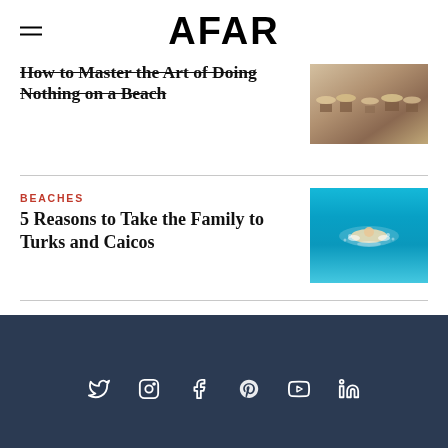AFAR
How to Master the Art of Doing Nothing on a Beach
[Figure (photo): Outdoor patio or terrace area with chairs and umbrellas, warm tones]
BEACHES
5 Reasons to Take the Family to Turks and Caicos
[Figure (photo): Aerial view of a person swimming or snorkeling in bright turquoise water]
Social media icons: Twitter, Instagram, Facebook, Pinterest, YouTube, LinkedIn